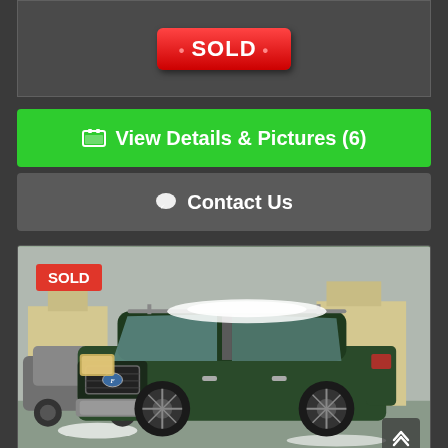[Figure (photo): Top section showing a SOLD badge/banner on dark background]
View Details & Pictures (6)
Contact Us
[Figure (photo): Photo of a dark green Ford Escape SUV with snow on the roof, parked in a lot. A red SOLD badge is visible in the top-left corner of the photo. A scroll-up arrow button is in the bottom-right corner.]